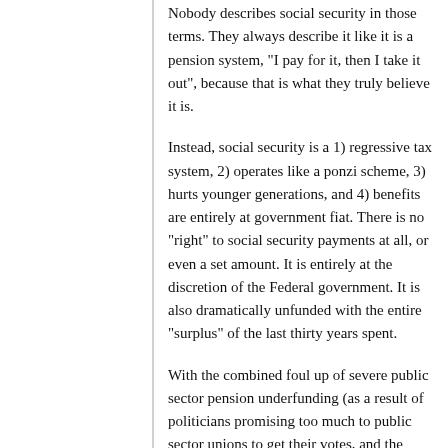Nobody describes social security in those terms. They always describe it like it is a pension system, "I pay for it, then I take it out", because that is what they truly believe it is.
Instead, social security is a 1) regressive tax system, 2) operates like a ponzi scheme, 3) hurts younger generations, and 4) benefits are entirely at government fiat. There is no "right" to social security payments at all, or even a set amount. It is entirely at the discretion of the Federal government. It is also dramatically unfunded with the entire "surplus" of the last thirty years spent.
With the combined foul up of severe public sector pension underfunding (as a result of politicians promising too much to public sector unions to get their votes, and the woeful management of them), we are heading to some dark times in America.
JWatts
2016-08-29 14:14:22